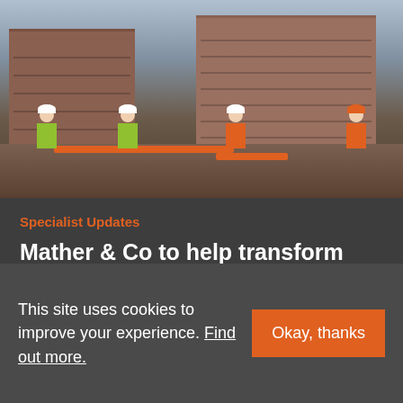[Figure (photo): Four workers in high-visibility vests and hard hats standing at a construction site in front of brick buildings under development]
Specialist Updates
Mather & Co to help transform Shrewsbury Flaxmill Maltings into thriving community hub
This site uses cookies to improve your experience. Find out more.
Okay, thanks